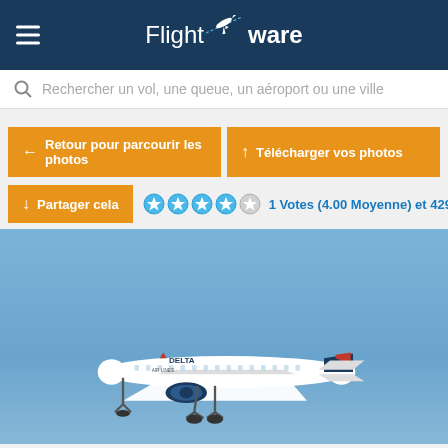FlightAware
Rechercher un vol, une queue, un aéroport ou une ville
← Retour pour parcourir les photos
↑ Télécharger vos photos
↓ Partager cela
1 Votes (4.00 Moyenne) et 429 Vues
[Figure (photo): Delta Airlines Boeing 757 aircraft in flight against a blue sky, approaching to land with landing gear deployed]